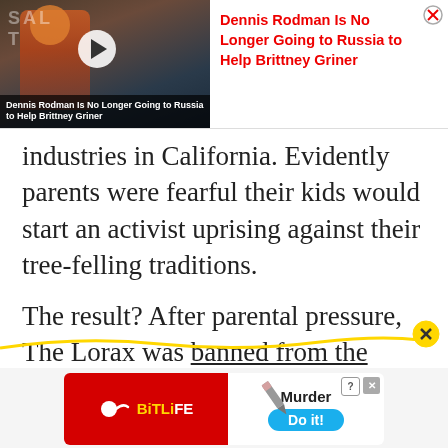[Figure (screenshot): Advertisement banner: Video thumbnail on the left showing Dennis Rodman with text 'Dennis Rodman Is No Longer Going to Russia to Help Brittney Griner', and on the right a red text headline of the same title with a close button.]
industries in California. Evidently parents were fearful their kids would start an activist uprising against their tree-felling traditions.
The result? After parental pressure, The Lorax was banned from the public school in Laytonville.
[Figure (screenshot): BitLife game advertisement banner at the bottom. Red background on left with BitLife logo in yellow and white, sperm icon. Right side white background with 'Murder' text, 'Do it!' blue pill button, and close/question mark icons. Pencil icon in center.]